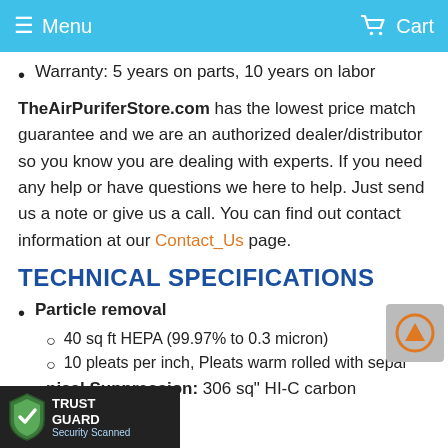Menu  Cart
Warranty: 5 years on parts, 10 years on labor
TheAirPuriferStore.com has the lowest price match guarantee and we are an authorized dealer/distributor so you know you are dealing with experts. If you need any help or have questions we here to help. Just send us a note or give us a call. You can find out contact information at our Contact_Us page.
TECHNICAL SPECIFICATIONS
Particle removal
40 sq ft HEPA  (99.97% to 0.3 micron)
10 pleats per inch, Pleats warm rolled with separ
nical Suppression: 306 sq" HI-C carbon